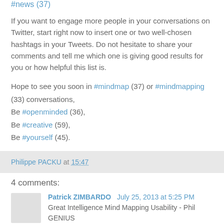#news (37)
If you want to engage more people in your conversations on Twitter, start right now to insert one or two well-chosen hashtags in your Tweets. Do not hesitate to share your comments and tell me which one is giving good results for you or how helpful this list is.
Hope to see you soon in #mindmap (37) or #mindmapping (33) conversations, Be #openminded (36), Be #creative (59), Be #yourself (45).
Philippe PACKU at 15:47
4 comments:
Patrick ZIMBARDO  July 25, 2013 at 5:25 PM
Great Intelligence Mind Mapping Usability - Phil GENIUS